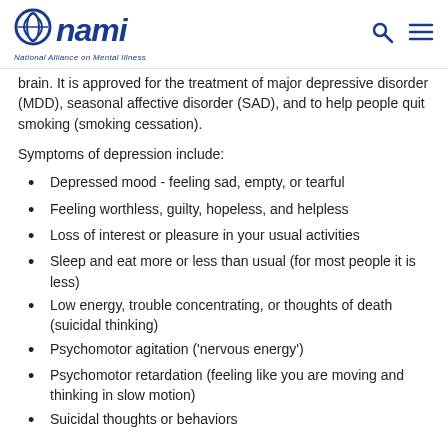NAMI - National Alliance on Mental Illness
brain. It is approved for the treatment of major depressive disorder (MDD), seasonal affective disorder (SAD), and to help people quit smoking (smoking cessation).
Symptoms of depression include:
Depressed mood - feeling sad, empty, or tearful
Feeling worthless, guilty, hopeless, and helpless
Loss of interest or pleasure in your usual activities
Sleep and eat more or less than usual (for most people it is less)
Low energy, trouble concentrating, or thoughts of death (suicidal thinking)
Psychomotor agitation ('nervous energy')
Psychomotor retardation (feeling like you are moving and thinking in slow motion)
Suicidal thoughts or behaviors